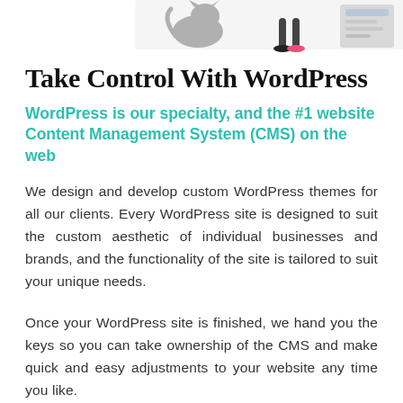[Figure (illustration): Partial illustration at top of page showing a cat, a person, and a website/screen mockup in a decorative style]
Take Control With WordPress
WordPress is our specialty, and the #1 website Content Management System (CMS) on the web
We design and develop custom WordPress themes for all our clients. Every WordPress site is designed to suit the custom aesthetic of individual businesses and brands, and the functionality of the site is tailored to suit your unique needs.
Once your WordPress site is finished, we hand you the keys so you can take ownership of the CMS and make quick and easy adjustments to your website any time you like.